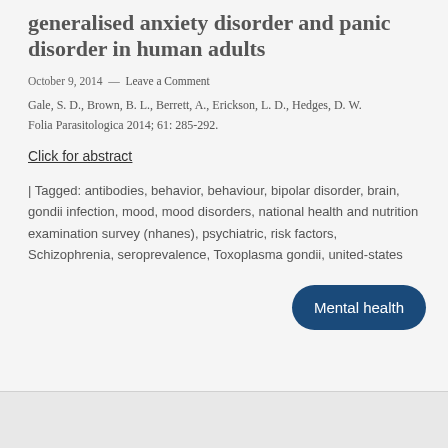generalised anxiety disorder and panic disorder in human adults
October 9, 2014 — Leave a Comment
Gale, S. D., Brown, B. L., Berrett, A., Erickson, L. D., Hedges, D. W.
Folia Parasitologica 2014; 61: 285-292.
Click for abstract
| Tagged: antibodies, behavior, behaviour, bipolar disorder, brain, gondii infection, mood, mood disorders, national health and nutrition examination survey (nhanes), psychiatric, risk factors, Schizophrenia, seroprevalence, Toxoplasma gondii, united-states